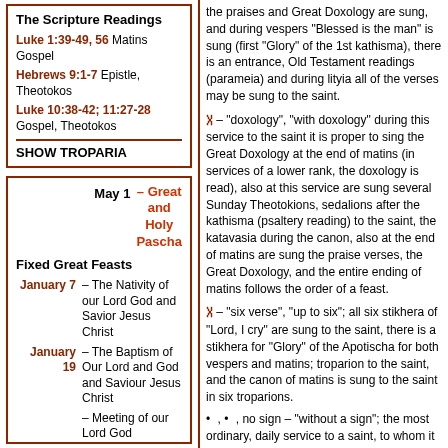The Scripture Readings
Luke 1:39-49, 56 Matins Gospel
Hebrews 9:1-7 Epistle, Theotokos
Luke 10:38-42; 11:27-28 Gospel, Theotokos
SHOW TROPARIA
– Great and Holy Pascha  May 1
Fixed Great Feasts
January 7 – The Nativity of our Lord God and Savior Jesus Christ
January 19 – The Baptism of Our Lord and God and Saviour Jesus Christ
– Meeting of our Lord God
the praises and Great Doxology are sung, and during vespers "Blessed is the man" is sung (first "Glory" of the 1st kathisma), there is an entrance, Old Testament readings (parameia) and during lityia all of the verses may be sung to the saint.
Ꞓ – "doxology", "with doxology" during this service to the saint it is proper to sing the Great Doxology at the end of matins (in services of a lower rank, the doxology is read), also at this service are sung several Sunday Theotokions, sedalions after the kathisma (psaltery reading) to the saint, the katavasia during the canon, also at the end of matins are sung the praise verses, the Great Doxology, and the entire ending of matins follows the order of a feast.
Ꞓ – "six verse", "up to six"; all six stikhera of "Lord, I cry" are sung to the saint, there is a stikhera for "Glory" of the Apotischa for both vespers and matins; troparion to the saint, and the canon of matins is sung to the saint in six troparions.
• , • , no sign – "without a sign"; the most ordinary, daily service to a saint, to whom it is customary to sing only three stikhera at "Lord I cry" and the canon of matins in four troparions. There may not be a troparion to the saint.